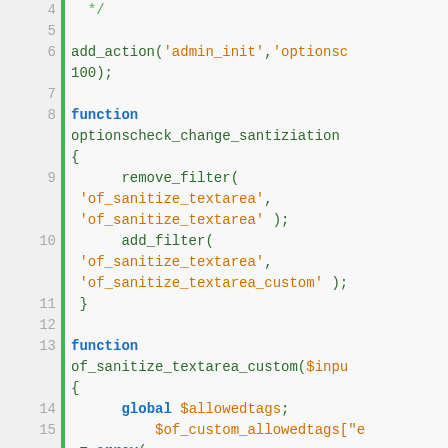[Figure (screenshot): Code editor screenshot showing PHP code with syntax highlighting. Line numbers 4-17 visible. Green vertical bar as gutter. Code includes comment closing, add_action call, function optionscheck_change_santiziation, remove_filter and add_filter calls, function of_sanitize_textarea_custom with global $allowedtags and array assignments.]